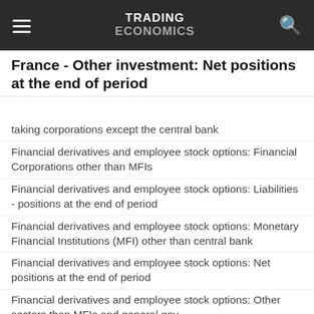TRADING ECONOMICS
France - Other investment: Net positions at the end of period
taking corporations except the central bank
Financial derivatives and employee stock options: Financial Corporations other than MFIs
Financial derivatives and employee stock options: Liabilities - positions at the end of period
Financial derivatives and employee stock options: Monetary Financial Institutions (MFI) other than central bank
Financial derivatives and employee stock options: Net positions at the end of period
Financial derivatives and employee stock options: Other sectors than MFIs and general gov.
International investment position: Assets - positions at the end of period
International investment position: Liabilities - positions at the end of period
International investment position: Net positions at the end